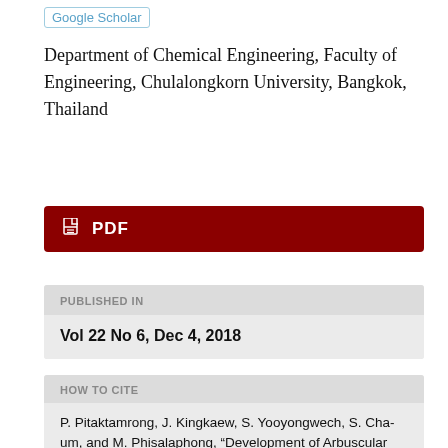Google Scholar
Department of Chemical Engineering, Faculty of Engineering, Chulalongkorn University, Bangkok, Thailand
PDF
PUBLISHED IN
Vol 22 No 6, Dec 4, 2018
HOW TO CITE
P. Pitaktamrong, J. Kingkaew, S. Yooyongwech, S. Cha-um, and M. Phisalaphong, “Development of Arbuscular Mycorrhizal Fungi-Organic Fertilizer Pellets Encapsulated with Alginate Film”, Eng.